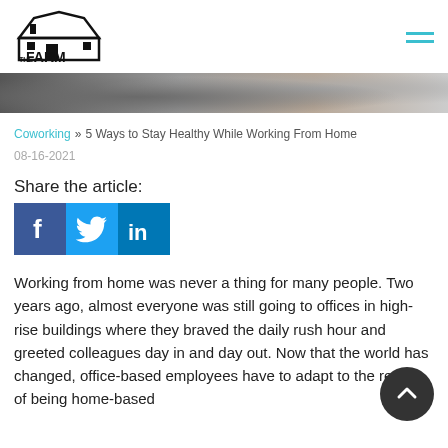[Figure (logo): The Farm logo with barn icon and text]
[Figure (photo): Hero banner image showing gravel or stone texture, dark tones]
Coworking » 5 Ways to Stay Healthy While Working From Home
08-16-2021
Share the article:
[Figure (illustration): Social media sharing icons: Facebook (f), Twitter (bird), LinkedIn (in)]
Working from home was never a thing for many people. Two years ago, almost everyone was still going to offices in high-rise buildings where they braved the daily rush hour and greeted colleagues day in and day out. Now that the world has changed, office-based employees have to adapt to the reality of being home-based